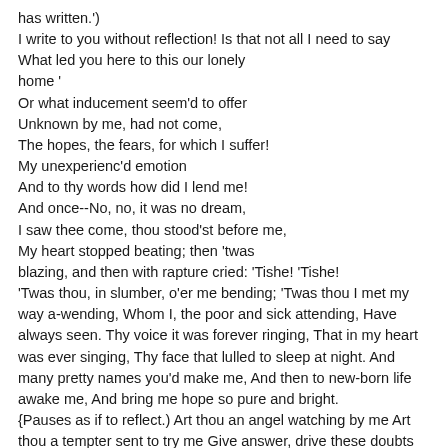has written.')
I write to you without reflection! Is that not all I need to say
What led you here to this our lonely
home '
Or what inducement seem'd to offer
Unknown by me, had not come,
The hopes, the fears, for which I suffer!
My unexperienc'd emotion
And to thy words how did I lend me!
And once--No, no, it was no dream,
I saw thee come, thou stood'st before me,
My heart stopped beating; then 'twas
blazing, and then with rapture cried: 'Tishe! 'Tishe!
'Twas thou, in slumber, o'er me bending; 'Twas thou I met my way a-wending, Whom I, the poor and sick attending, Have always seen. Thy voice it was forever ringing, That in my heart was ever singing, Thy face that lulled to sleep at night. And many pretty names you'd make me, And then to new-born life awake me, And bring me hope so pure and bright.
{Pauses as if to reflect.) Art thou an angel watching by me Art thou a tempter sent to try me Give answer, drive these doubts away! The face I dreamt, was that delusion Art thou a freak of fancy Say!